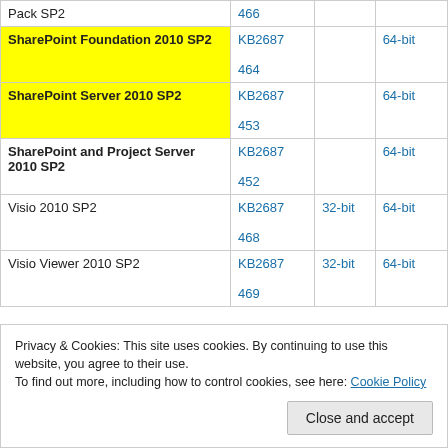|  |  |  |  |
| --- | --- | --- | --- |
| Pack SP2 | 466 |  |  |
| SharePoint Foundation 2010 SP2 | KB2687
464 |  | 64-bit |
| SharePoint Server 2010 SP2 | KB2687
453 |  | 64-bit |
| SharePoint and Project Server 2010 SP2 | KB2687
452 |  | 64-bit |
| Visio 2010 SP2 | KB2687
468 | 32-bit | 64-bit |
| Visio Viewer 2010 SP2 | KB2687
469 | 32-bit | 64-bit |
Privacy & Cookies: This site uses cookies. By continuing to use this website, you agree to their use.
To find out more, including how to control cookies, see here: Cookie Policy